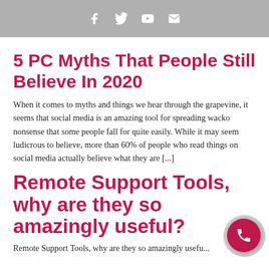Social media icons: Facebook, Twitter, YouTube, Email
5 PC Myths That People Still Believe In 2020
When it comes to myths and things we hear through the grapevine, it seems that social media is an amazing tool for spreading wacko nonsense that some people fall for quite easily. While it may seem ludicrous to believe, more than 60% of people who read things on social media actually believe what they are [...]
Remote Support Tools, why are they so amazingly useful?
Remote Support Tools, why are they so amazingly useful...